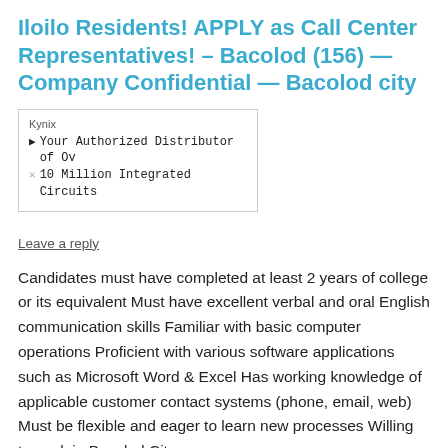Iloilo Residents! APPLY as Call Center Representatives! – Bacolod (156) — Company Confidential — Bacolod city
[Figure (other): Advertisement box: Kynix - Your Authorized Distributor of Ov 10 Million Integrated Circuits]
Leave a reply
Candidates must have completed at least 2 years of college or its equivalent Must have excellent verbal and oral English communication skills Familiar with basic computer operations Proficient with various software applications such as Microsoft Word & Excel Has working knowledge of applicable customer contact systems (phone, email, web) Must be flexible and eager to learn new processes Willing to work in Bacolod City
This entry was posted in Creative Jobs and tagged Bacolod City on